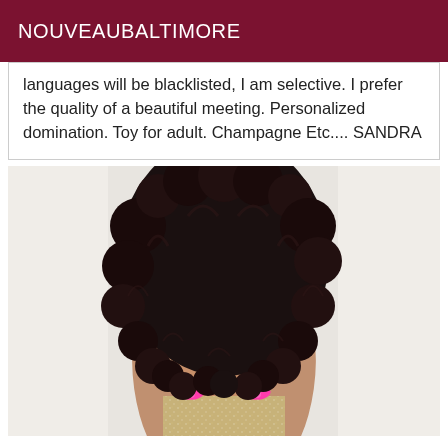NOUVEAUBALTIMORE
languages will be blacklisted, I am selective. I prefer the quality of a beautiful meeting. Personalized domination. Toy for adult. Champagne Etc.... SANDRA
[Figure (photo): A person with long, dark curly hair seen from behind, wearing a bikini top with pink bows at the back, and a glittery skirt, against a white background.]